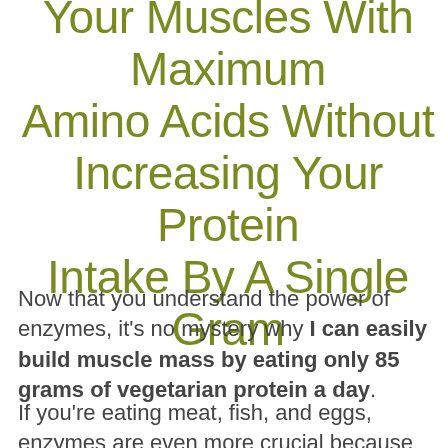Your Muscles With Maximum Amino Acids Without Increasing Your Protein Intake By A Single Gram
Now that you understand the power of enzymes, it's no mystery why I can easily build muscle mass by eating only 85 grams of vegetarian protein a day.
If you're eating meat, fish, and eggs, enzymes are even more crucial because